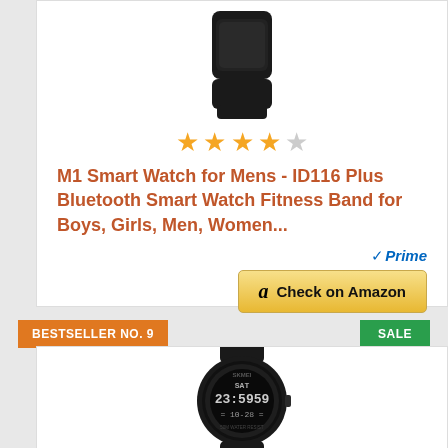[Figure (photo): Black smartwatch/fitness band product image, cropped showing band and partial watch face from above]
[Figure (other): 4 out of 5 star rating shown with gold and gray stars]
M1 Smart Watch for Mens - ID116 Plus Bluetooth Smart Watch Fitness Band for Boys, Girls, Men, Women...
[Figure (logo): Amazon Prime logo with blue checkmark and italic Prime text]
[Figure (other): Check on Amazon button with Amazon logo in gold/yellow gradient]
BESTSELLER NO. 9
SALE
[Figure (photo): Black SKMEI digital sport watch showing SAT 23:59:59 10:28 on display]